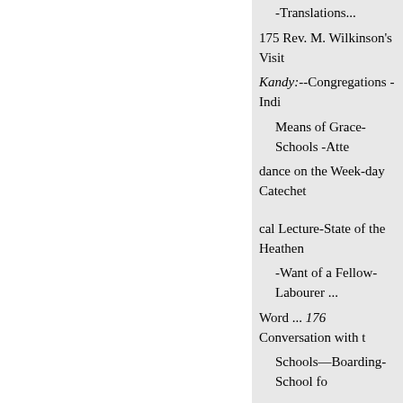-Translations...
175 Rev. M. Wilkinson's Visit
Kandy:--Congregations - Indi
Means of Grace-Schools -Attendance on the Week-day Catechetical Lecture-State of the Heathen
-Want of a Fellow-Labourer ... Word ... 176 Conversation with the Schools—Boarding-School fo
Female School Want of additio
Female Schools Effect of Disa
138
pointments
177 Kurnaul